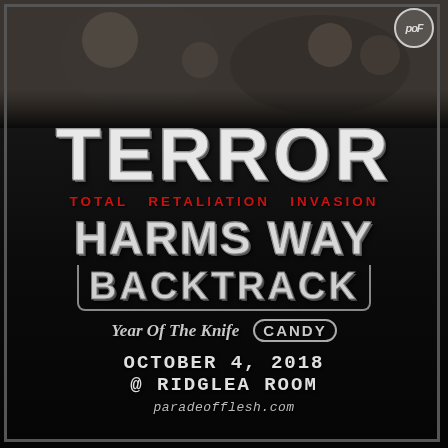[Figure (photo): Concert crowd photo in black and white, showing a performer singing into a microphone and crowd members, serving as background for event poster]
TERROR
TOTAL RETALIATION INVASION
HARMS WAY
BACKTRACK
Year Of The Knife  CANDY
OCTOBER 4, 2018
@ RIDGLEA ROOM
paradeofflesh.com